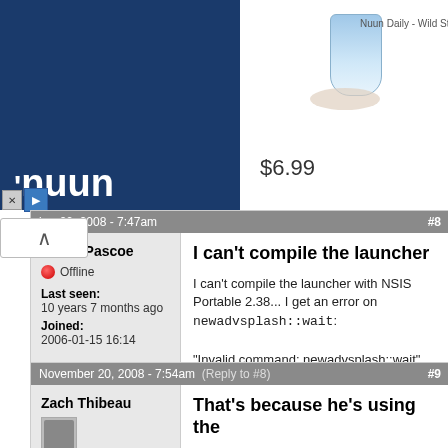[Figure (other): Nuun advertisement banner with blue background, logo, product image, and $6.99 price]
November 20, 2008 - 7:47am  #8
Bruce Pascoe
Offline
Last seen: 10 years 7 months ago
Joined: 2006-01-15 16:14
I can't compile the launcher
I can't compile the launcher with NSIS Portable 2.38... I get an error on newadvsplash::wait:

"Invalid command: newadvsplash::wait"
Top
November 20, 2008 - 7:54am  (Reply to #8)  #9
Zach Thibeau
Offline
That's because he's using the
That's because he's using the old newadvsplash plugin he needs to update the plugin and use this line instead... P.s. if you want to d